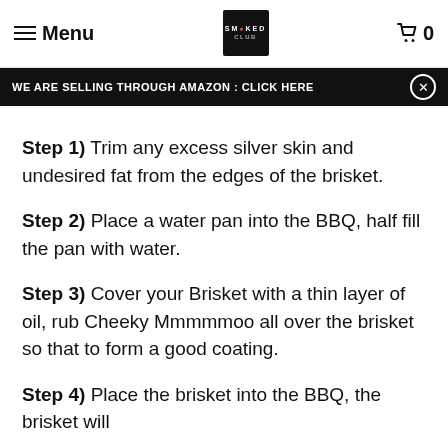Menu | SMOKED CLUB | 0
WE ARE SELLING THROUGH AMAZON : CLICK HERE
Step 1) Trim any excess silver skin and undesired fat from the edges of the brisket.
Step 2) Place a water pan into the BBQ, half fill the pan with water.
Step 3) Cover your Brisket with a thin layer of oil, rub Cheeky Mmmmmoo all over the brisket so that to form a good coating.
Step 4) Place the brisket into the BBQ, the brisket will